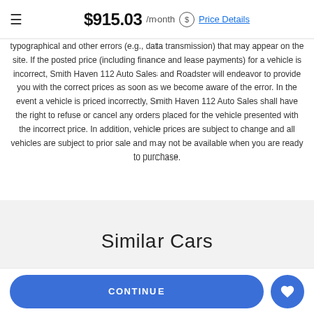$915.03 /month Price Details
typographical and other errors (e.g., data transmission) that may appear on the site. If the posted price (including finance and lease payments) for a vehicle is incorrect, Smith Haven 112 Auto Sales and Roadster will endeavor to provide you with the correct prices as soon as we become aware of the error. In the event a vehicle is priced incorrectly, Smith Haven 112 Auto Sales shall have the right to refuse or cancel any orders placed for the vehicle presented with the incorrect price. In addition, vehicle prices are subject to change and all vehicles are subject to prior sale and may not be available when you are ready to purchase.
Similar Cars
CONTINUE